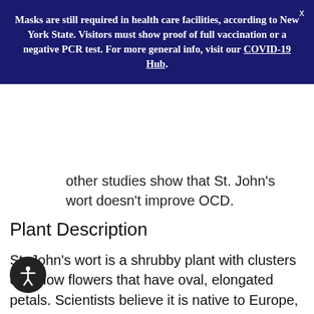Masks are still required in health care facilities, according to New York State. Visitors must show proof of full vaccination or a negative PCR test. For more general info, visit our COVID-19 Hub.
other studies show that St. John's wort doesn't improve OCD.
Plant Description
St. John's wort is a shrubby plant with clusters of yellow flowers that have oval, elongated petals. Scientists believe it is native to Europe, parts of Asia and Africa, and the western United States. The plant gets its name because it is often in full bloom around June 24, the day traditionally celebrated as the birthday of John the Baptist. Both the flowers and leaves are used as medicine.